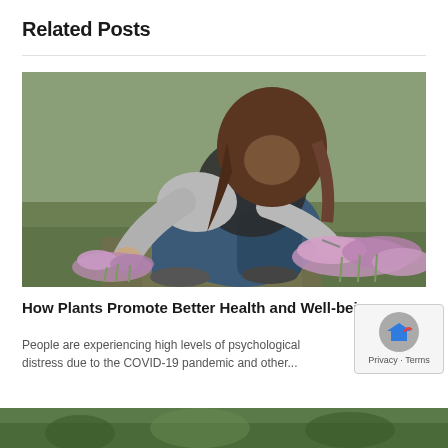Related Posts
[Figure (photo): A woman crouching outdoors, picking or tending to small purple/pink flowering heather plants on a grassy field. She is wearing a grey long-sleeve shirt and blue jeans.]
How Plants Promote Better Health and Well-being
People are experiencing high levels of psychological distress due to the COVID-19 pandemic and other...
[Figure (photo): Partial view of another article's thumbnail image at the bottom of the page — appears to be a green/nature scene.]